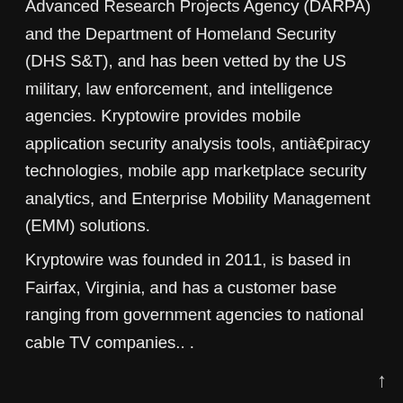(DARPA) and the Department of Homeland Security (DHS S&T), and has been vetted by the US military, law enforcement, and intelligence agencies. Kryptowire provides mobile application security analysis tools, anti‑piracy technologies, mobile app marketplace security analytics, and Enterprise Mobility Management (EMM) solutions.
Kryptowire was founded in 2011, is based in Fairfax, Virginia, and has a customer base ranging from government agencies to national cable TV companies.. .